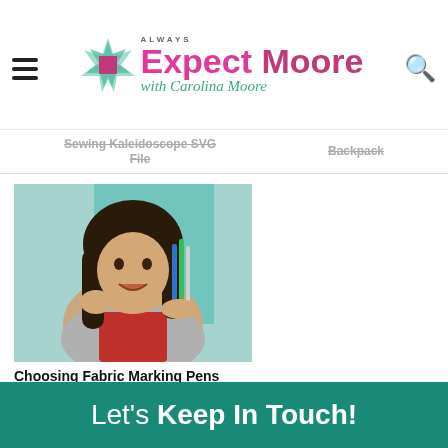Always Expect Moore with Carolina Moore
Sewing Kaleidoscope SVG File
Backpack
[Figure (photo): Woman holding fabric marking pens, sitting in a craft room with colorful items in the background]
Choosing Fabric Marking Pens
Let's Keep In Touch!